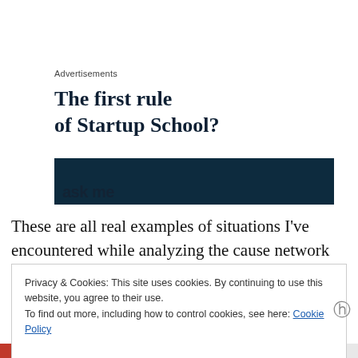Advertisements
The first rule of Startup School?
[Figure (other): Dark navy advertisement banner with partially visible bold text]
These are all real examples of situations I've encountered while analyzing the cause network for troubled or failed
Privacy & Cookies: This site uses cookies. By continuing to use this website, you agree to their use.
To find out more, including how to control cookies, see here: Cookie Policy
Close and accept